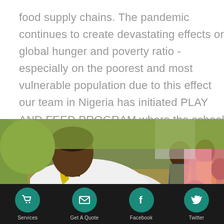food supply chains. The pandemic continues to create devastating effects on global hunger and poverty ratio - especially on the poorest and most vulnerable population due to this effect our team in Nigeria has initiated PLAY AND FEED PROGRAM where the school kids can play and feed.
[Figure (photo): Photo of a man and school children in yellow uniforms outdoors, with a pink/red geometric overlay on the right side]
Services | Get A Quote | Facebook | Twitter